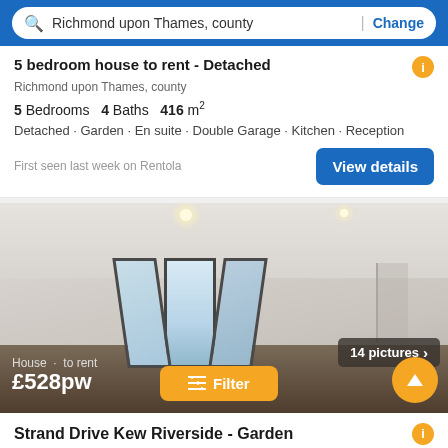Richmond upon Thames, county | Change
5 bedroom house to rent - Detached
Richmond upon Thames, county
5 Bedrooms   4 Baths   416 m²
Detached · Garden · En suite · Double Garage · Kitchen · Reception
First seen last week on Rentola
[Figure (photo): Interior room photo showing an empty bright room with bay windows, white walls, dark hardwood floor. Shows '14 pictures >' badge in bottom right.]
House · to rent
£528pw
Strand Drive Kew Riverside - Garden